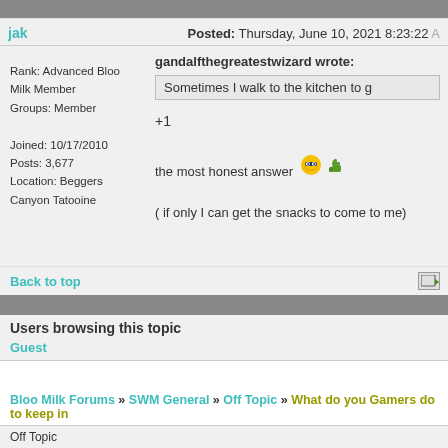jak | Posted: Thursday, June 10, 2021 8:23:22
Rank: Advanced Bloo Milk Member
Groups: Member

Joined: 10/17/2010
Posts: 3,677
Location: Beggers Canyon Tatooine
gandalfthegreatestwizard wrote:
Sometimes I walk to the kitchen to g
+1

the most honest answer 😎👍

( if only I can get the snacks to come to me)
Back to top
Users browsing this topic
Guest
Bloo Milk Forums » SWM General » Off Topic » What do you Gamers do to keep in
Off Topic